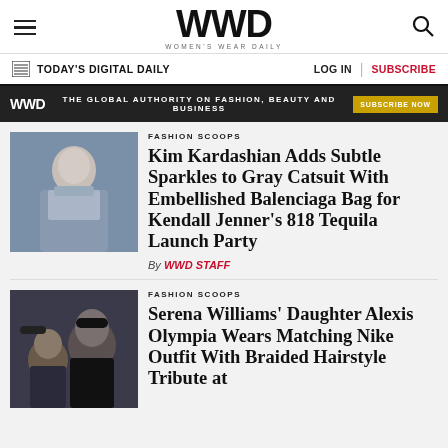WWD — Women's Wear Daily
TODAY'S DIGITAL DAILY | LOG IN | SUBSCRIBE
WWD — THE GLOBAL AUTHORITY ON FASHION, BEAUTY AND BUSINESS — SUBSCRIBE NOW
FASHION SCOOPS
Kim Kardashian Adds Subtle Sparkles to Gray Catsuit With Embellished Balenciaga Bag for Kendall Jenner's 818 Tequila Launch Party
By WWD STAFF
FASHION SCOOPS
Serena Williams' Daughter Alexis Olympia Wears Matching Nike Outfit With Braided Hairstyle Tribute at